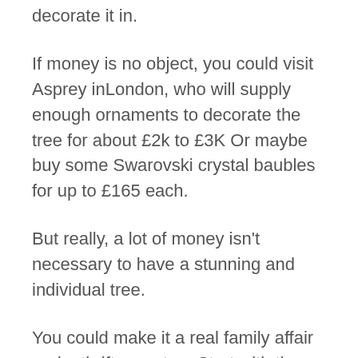decorate it in.
If money is no object, you could visit Asprey inLondon, who will supply enough ornaments to decorate the tree for about £2k to £3K Or maybe buy some Swarovski crystal baubles for up to £165 each.
But really, a lot of money isn't necessary to have a stunning and individual tree.
You could make it a real family affair and a thrifty one too. Start with the tree ornaments the children or grandchildren have made over the years, including the fairy made from a shuttle cock! Add to that with some home made tree decorations which you have made this year: silver foil stars, water dough figures, or pine cones, seed heads, holly and